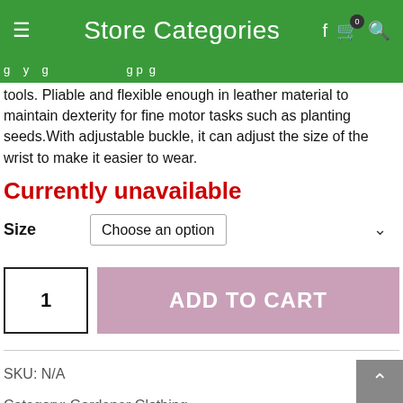Store Categories
tools. Pliable and flexible enough in leather material to maintain dexterity for fine motor tasks such as planting seeds.With adjustable buckle, it can adjust the size of the wrist to make it easier to wear.
Currently unavailable
Size   Choose an option
1   ADD TO CART
SKU: N/A
Category: Gardener Clothing
RELATED PRODUCTS